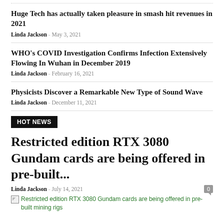Huge Tech has actually taken pleasure in smash hit revenues in 2021
Linda Jackson - May 3, 2021
WHO's COVID Investigation Confirms Infection Extensively Flowing In Wuhan in December 2019
Linda Jackson - February 16, 2021
Physicists Discover a Remarkable New Type of Sound Wave
Linda Jackson - December 11, 2021
HOT NEWS
Restricted edition RTX 3080 Gundam cards are being offered in pre-built...
Linda Jackson - July 14, 2021
Restricted edition RTX 3080 Gundam cards are being offered in pre-built mining rigs